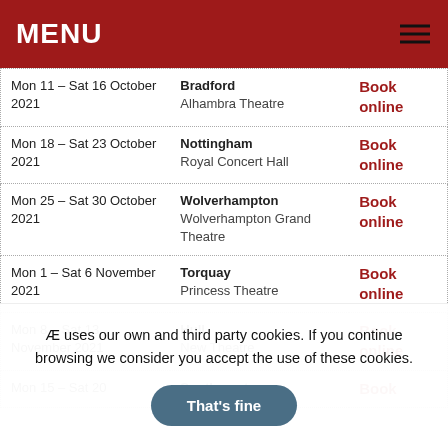MENU
| Date | Venue | Booking |
| --- | --- | --- |
| Mon 11 – Sat 16 October 2021 | Bradford
Alhambra Theatre | Book online |
| Mon 18 – Sat 23 October 2021 | Nottingham
Royal Concert Hall | Book online |
| Mon 25 – Sat 30 October 2021 | Wolverhampton
Wolverhampton Grand Theatre | Book online |
| Mon 1 – Sat 6 November 2021 | Torquay
Princess Theatre | Book online |
| Mon 8 – Sat 13 November 2021 | Hull
New Theatre | Book online |
| Mon 15 – Sat 20 | Southampton | Book |
Æ uses our own and third party cookies. If you continue browsing we consider you accept the use of these cookies.
That's fine